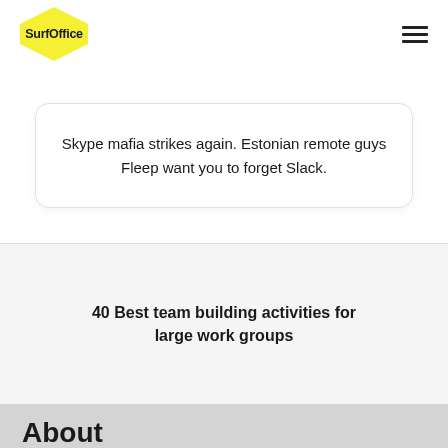SurfOffice
Skype mafia strikes again. Estonian remote guys Fleep want you to forget Slack.
40 Best team building activities for large work groups
About